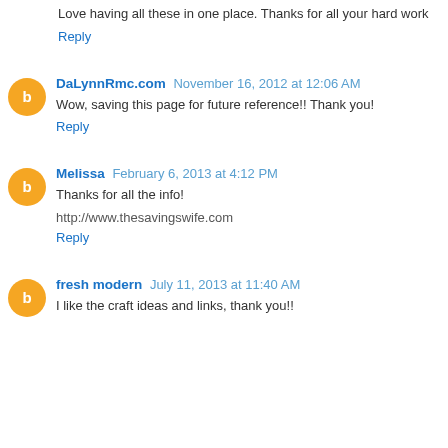Love having all these in one place. Thanks for all your hard work
Reply
DaLynnRmc.com November 16, 2012 at 12:06 AM
Wow, saving this page for future reference!! Thank you!
Reply
Melissa February 6, 2013 at 4:12 PM
Thanks for all the info!
http://www.thesavingswife.com
Reply
fresh modern July 11, 2013 at 11:40 AM
I like the craft ideas and links, thank you!!